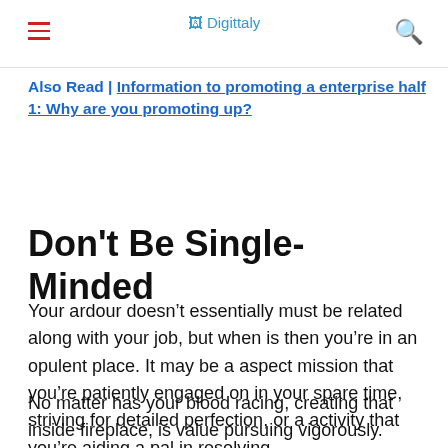Digittaly
Also Read | Information to promoting a enterprise half 1: Why are you promoting up?
Don’t Be Single-Minded
Your ardour doesn’t essentially must be related along with your job, but when is then you’re in an opulent place. It may be a aspect mission that you’re patiently engaged on in your spare time, striving for detailed perfection, or a activity that you’re aiding a pal in resolving.
No matter has your blood racing, creating that inside fireplace, is value pursuing vigorously.